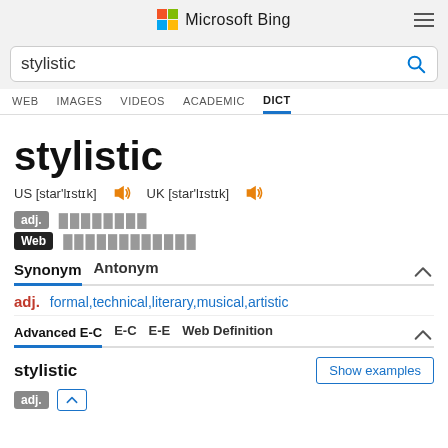Microsoft Bing
stylistic [search query]
WEB  IMAGES  VIDEOS  ACADEMIC  DICT
stylistic
US [star'lɪstɪk]  UK [star'lɪstɪk]
adj.  [redacted Chinese]
Web  [redacted Chinese]
Synonym  Antonym
adj.  formal,technical,literary,musical,artistic
Advanced E-C  E-C  E-E  Web Definition
stylistic
Show examples
adj.